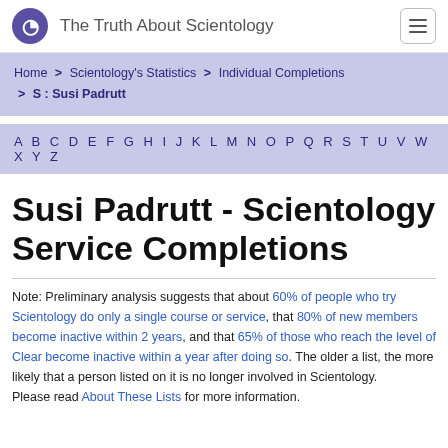The Truth About Scientology
Home > Scientology's Statistics > Individual Completions > S : Susi Padrutt
A B C D E F G H I J K L M N O P Q R S T U V W X Y Z
Susi Padrutt - Scientology Service Completions
Note: Preliminary analysis suggests that about 60% of people who try Scientology do only a single course or service, that 80% of new members become inactive within 2 years, and that 65% of those who reach the level of Clear become inactive within a year after doing so. The older a list, the more likely that a person listed on it is no longer involved in Scientology.
Please read About These Lists for more information.